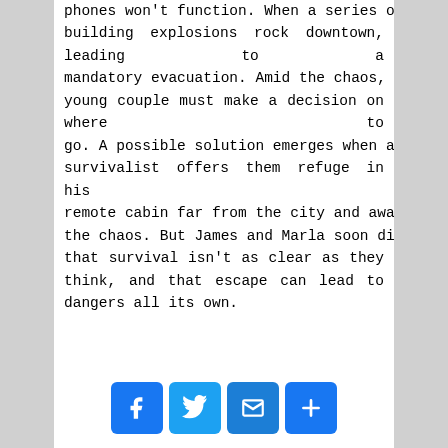phones won't function. When a series of building explosions rock downtown, leading to a mandatory evacuation. Amid the chaos, the young couple must make a decision on where to go. A possible solution emerges when a self-proclaimed survivalist offers them refuge in his remote cabin far from the city and away from the chaos. But James and Marla soon discover that survival isn't as clear as they think, and that escape can lead to dangers all its own.
[Figure (infographic): Social sharing buttons: Facebook, Twitter, Email, and a plus/share button]